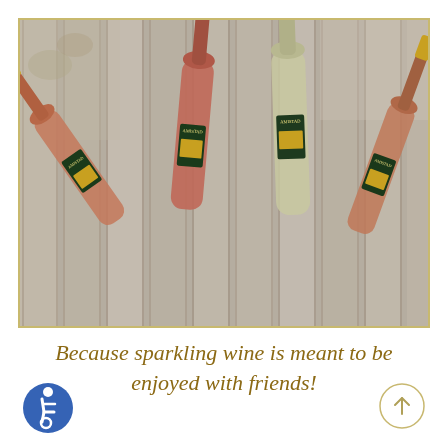[Figure (photo): Four sparkling wine bottles (Amistad brand) laid on a wooden slatted table/surface, viewed from above. Two bottles are laid diagonally and two are upright. The bottles show rosé and white sparkling wines with gold foil and dark green labels.]
Because sparkling wine is meant to be enjoyed with friends!
[Figure (illustration): Accessibility icon — blue circle with white wheelchair user symbol (ISA symbol)]
[Figure (illustration): Scroll-to-top button — thin tan circle with upward-pointing arrow]